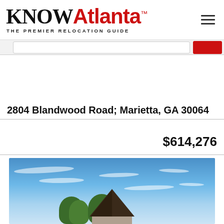KNOWAtlanta™ THE PREMIER RELOCATION GUIDE
2804 Blandwood Road; Marietta, GA 30064
$614,276
[Figure (photo): Exterior photo of a house with a dark triangular roof peak visible against a blue sky with light cloud wisps and trees in background.]